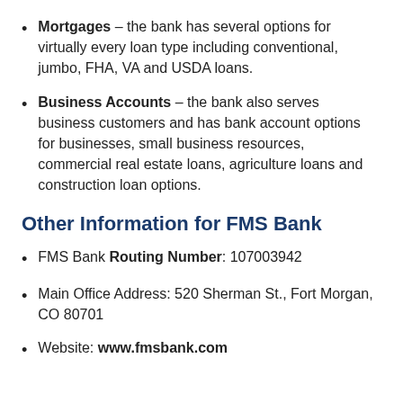Mortgages – the bank has several options for virtually every loan type including conventional, jumbo, FHA, VA and USDA loans.
Business Accounts – the bank also serves business customers and has bank account options for businesses, small business resources, commercial real estate loans, agriculture loans and construction loan options.
Other Information for FMS Bank
FMS Bank Routing Number: 107003942
Main Office Address: 520 Sherman St., Fort Morgan, CO 80701
Website: www.fmsbank.com